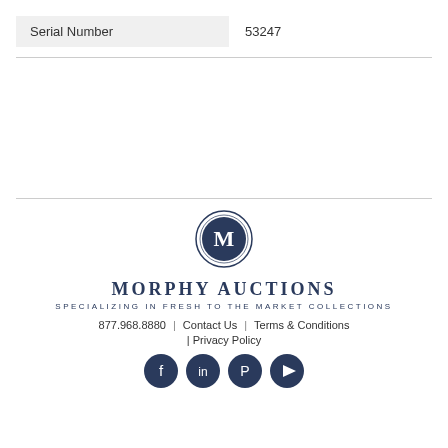| Serial Number | 53247 |
MORPHY AUCTIONS
SPECIALIZING IN FRESH TO THE MARKET COLLECTIONS
877.968.8880 | Contact Us | Terms & Conditions | Privacy Policy